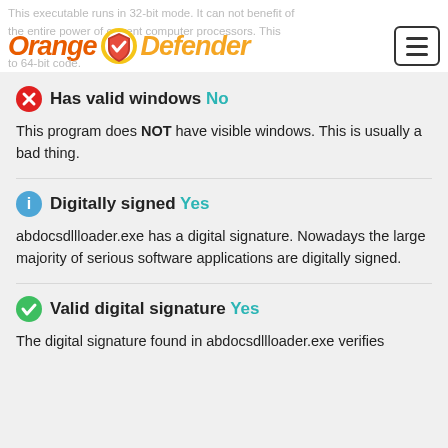This executable runs in 32-bit mode. It can not benefit of the entire power of current computer processors. This ... upgrade to 64-bit code.
[Figure (logo): Orange Defender logo with shield icon and hamburger menu button]
Has valid windows No
This program does NOT have visible windows. This is usually a bad thing.
Digitally signed Yes
abdocsdllloader.exe has a digital signature. Nowadays the large majority of serious software applications are digitally signed.
Valid digital signature Yes
The digital signature found in abdocsdllloader.exe verifies